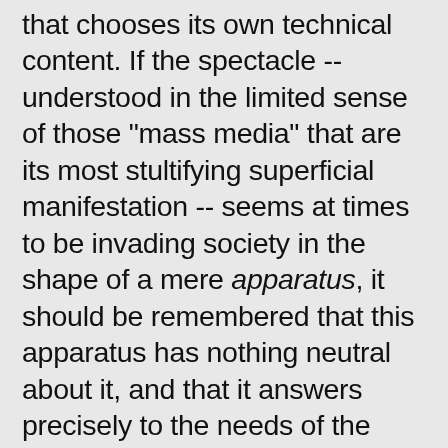that chooses its own technical content. If the spectacle -- understood in the limited sense of those "mass media" that are its most stultifying superficial manifestation -- seems at times to be invading society in the shape of a mere apparatus, it should be remembered that this apparatus has nothing neutral about it, and that it answers precisely to the needs of the spectacle's internal dynamics. If the social requirements of the age which develops such techniques can be met only through their mediation, if the administration of society and all contact between people now depends on the intervention of such "instant" communication, it is because this "communication" is essentially one-way; the concentration of the media thus amounts to